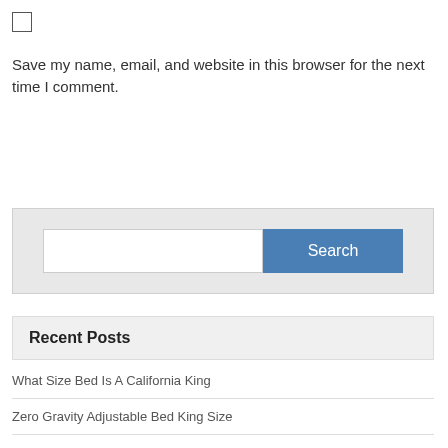Save my name, email, and website in this browser for the next time I comment.
Post Comment
[Figure (other): Search widget with text input and blue Search button on a light grey background]
Recent Posts
What Size Bed Is A California King
Zero Gravity Adjustable Bed King Size
2 Single Bed Is King Size
Dimensions Of A King Size Bed